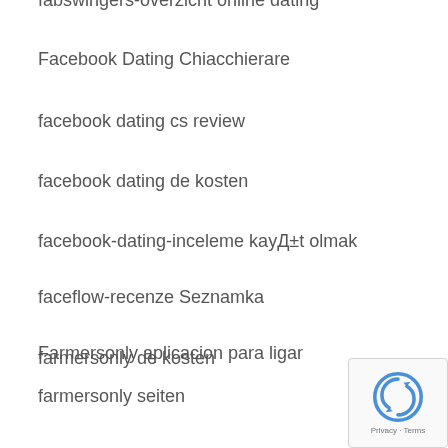fabswingers-overzicht online dating
Facebook Dating Chiacchierare
facebook dating cs review
facebook dating de kosten
facebook-dating-inceleme kayД±t olmak
faceflow-recenze Seznamka
Farmersonly aplicacion para ligar
farmersonly de kosten
farmersonly seiten
farmersonly visitors
fast flirting sign in
fast installment loans